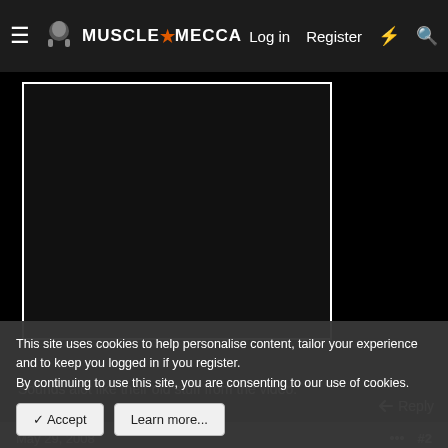MuscleMecca — Log in | Register
[Figure (screenshot): Embedded video player with black background and white border frame, partially cropped]
Sounds alot like their old stuff from the video.
Reply
May 29, 2008  #2
This site uses cookies to help personalise content, tailor your experience and to keep you logged in if you register.
By continuing to use this site, you are consenting to our use of cookies.
Accept  Learn more...